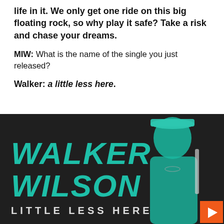life in it. We only get one ride on this big floating rock, so why play it safe? Take a risk and chase your dreams.
MIW: What is the name of the single you just released?
Walker: a little less here.
[Figure (illustration): Album art for Walker Wilson 'Little Less Here' single. Dark background with teal/cyan text reading 'WALKER WILSON' in large brushstroke style lettering, and 'LITTLE LESS HERE' in smaller spaced caps below. A man with a beard wearing a cap and white t-shirt appears on the right side, rendered in teal tone. An orange play button icon is in the bottom right corner.]